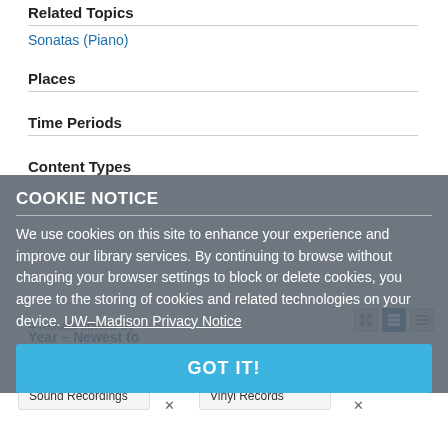Related Topics
Sonatas (Piano)
Places
Time Periods
Content Types
4 results sorted by
Year – Newest to Oldest
COOKIE NOTICE
We use cookies on this site to enhance your experience and improve our library services. By continuing to browse without changing your browser settings to block or delete cookies, you agree to the storing of cookies and related technologies on your device. UW–Madison Privacy Notice
GOT IT!
| FORMATS |
| --- |
| Sound Recordings |
| MEDIA |
| --- |
| Vinyl Records |